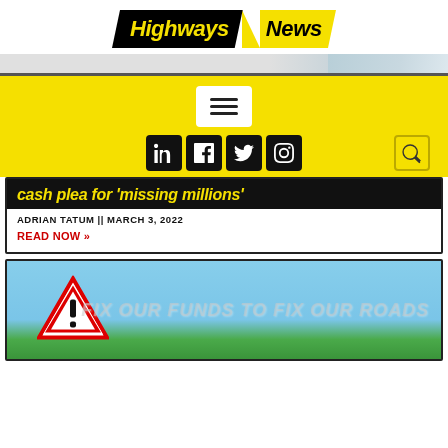[Figure (logo): Highways News logo — 'Highways' in yellow italic on black parallelogram, 'News' in black italic on yellow parallelogram]
[Figure (screenshot): Navigation bar with hamburger menu icon on white background, social media icons (LinkedIn, Facebook, Twitter, Instagram) on dark squares, and a search icon, all on yellow background]
cash plea for 'missing millions'
ADRIAN TATUM || MARCH 3, 2022
READ NOW »
[Figure (photo): Blue sky background with green grass at bottom, warning triangle sign on the left, text 'FIX OUR FUNDS TO FIX OUR ROADS' on the right in large grey italic letters]